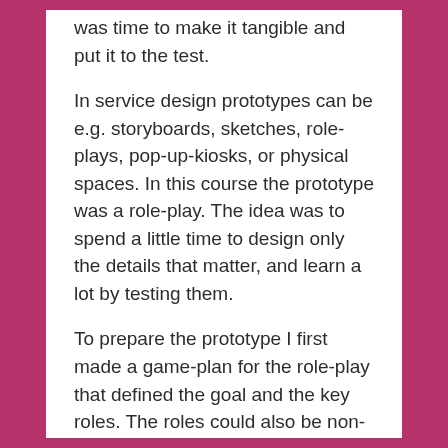was time to make it tangible and put it to the test.
In service design prototypes can be e.g. storyboards, sketches, role-plays, pop-up-kiosks, or physical spaces. In this course the prototype was a role-play. The idea was to spend a little time to design only the details that matter, and learn a lot by testing them.
To prepare the prototype I first made a game-plan for the role-play that defined the goal and the key roles. The roles could also be non-human.